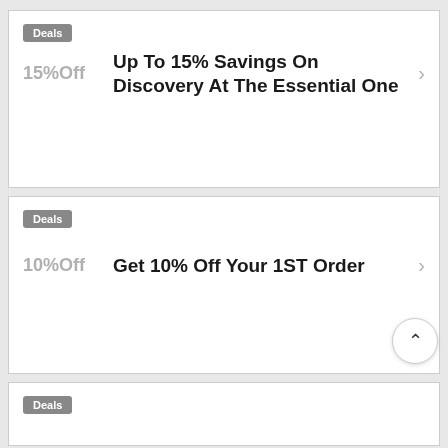Deals
Up To 15% Savings On Discovery At The Essential One
Deals
Get 10% Off Your 1ST Order
Deals